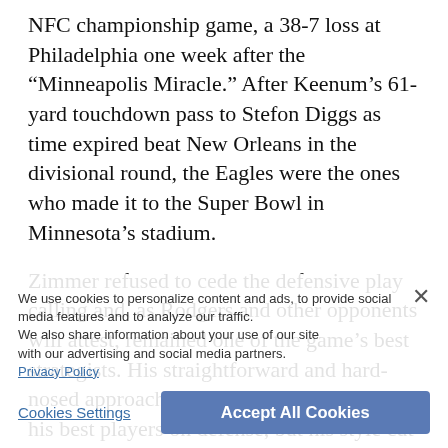NFC championship game, a 38-7 loss at Philadelphia one week after the “Minneapolis Miracle.” After Keenum’s 61-yard touchdown pass to Stefon Diggs as time expired beat New Orleans in the divisional round, the Eagles were the ones who made it to the Super Bowl in Minnesota’s stadium.
Zimmer refused to cede the defensive play calling and, as Rodgers and other opponents will attest, remained one of the game’s best strategists. His straightforward and hard-nosed approach won the respect of most of his best players on defense, but his style cut both ways.
Linebacker Eric Kendricks hinted at some tension when asked about his view on an ideal team culture with the next boss.
“Just having that voice, no matter how big your role is, is important, to listen up and take each other’s